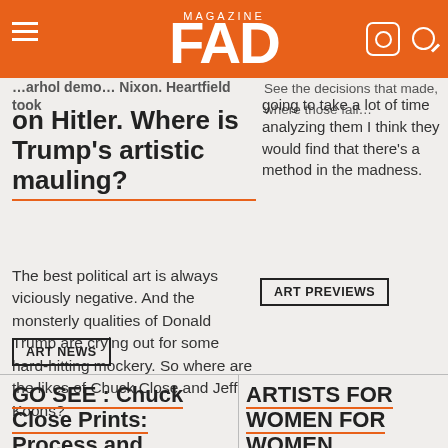FAD magazine
…arhol demo… Nixon. Heartfield took on Hitler. Where is Trump's artistic mauling?
See the decisions that made, where those fall … And if someone were going to take a lot of time analyzing them I think they would find that there's a method in the madness.
on Hitler. Where is Trump's artistic mauling?
The best political art is always viciously negative. And the monsterly qualities of Donald Trump are crying out for some hard-hitting mockery. So where are the likes of Chuck Close and Jeff Koons?
ART PREVIEWS
ART NEWS
GO SEE : Chuck Close Prints: Process and Collaboration
ARTISTS FOR WOMEN FOR WOMEN INTERNATIONAL 2011